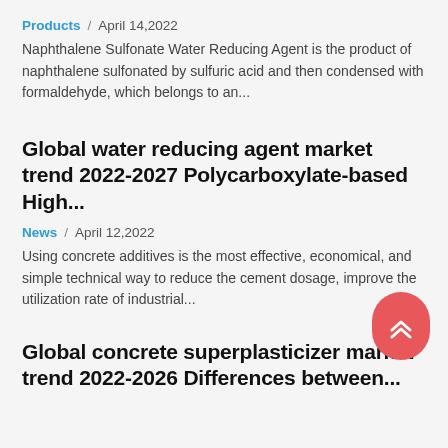Products / April 14,2022
Naphthalene Sulfonate Water Reducing Agent is the product of naphthalene sulfonated by sulfuric acid and then condensed with formaldehyde, which belongs to an...
Global water reducing agent market trend 2022-2027 Polycarboxylate-based High...
News / April 12,2022
Using concrete additives is the most effective, economical, and simple technical way to reduce the cement dosage, improve the utilization rate of industrial...
Global concrete superplasticizer market trend 2022-2026 Differences between...